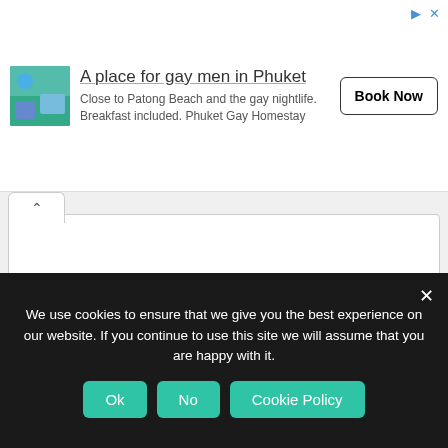[Figure (screenshot): Advertisement banner for 'A place for gay men in Phuket' with resort image, description text, and Book Now button]
[Figure (screenshot): Collapsed comment/text input area with chevron-up tab]
Notify me of follow-up comments by email.
Notify me of new posts by email.
We use cookies to ensure that we give you the best experience on our website. If you continue to use this site we will assume that you are happy with it.